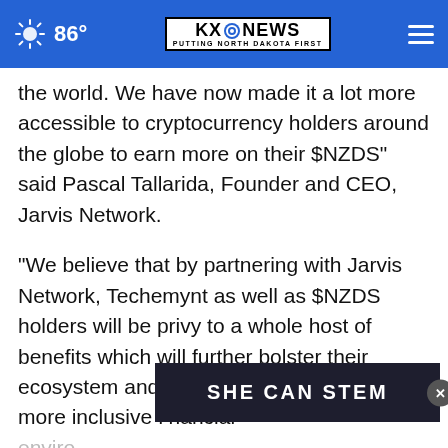86° | KXONEWS PUTTING NORTH DAKOTA FIRST
the world. We have now made it a lot more accessible to cryptocurrency holders around the globe to earn more on their $NZDS” said Pascal Tallarida, Founder and CEO, Jarvis Network.
“We believe that by partnering with Jarvis Network, Techemynt as well as $NZDS holders will be privy to a whole host of benefits which will further bolster their ecosystem and help promote adoption in a more inclusive financial environment for all its participants – some of which are detailed below:
[Figure (screenshot): SHE CAN STEM advertisement banner overlay with close button]